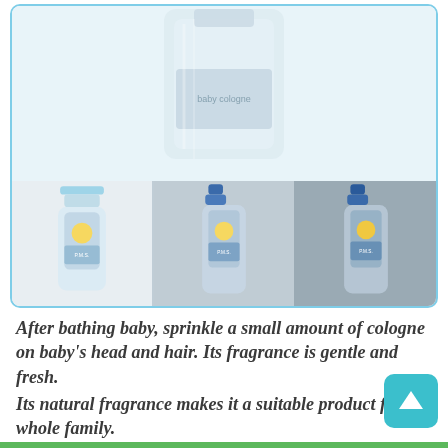[Figure (photo): Product photos of baby cologne bottles (P.M.S. brand with blue/light-blue caps and illustrated baby label). Top: large clear bottle close-up. Bottom row: three views — small bottle with light blue cap on white background, medium spray bottle on gray background, larger spray bottle on dark gray background.]
After bathing baby, sprinkle a small amount of cologne on baby's head and hair. Its fragrance is gentle and fresh.
Its natural fragrance makes it a suitable product for the whole family.